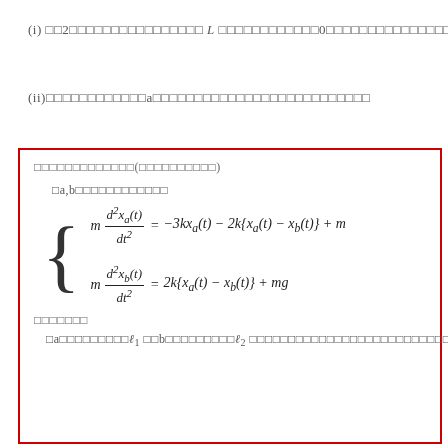(i) □□2□□□□□□□□□□□□□□□□ L □□□□□□□□□□□□0□□□□□□□□□□□□□□□
(ii)□□□□□□□□□□□□a□□□□□□□□□□□□□□□□□□□□□□□□□□
□□□□□□□□□□□□□(□□□□□□□□□□)
□a,b□□□□□□□□□□□□
□□□□□□□
□a□□□□□□□□□ℓ₁ □□b□□□□□□□□□ℓ₂ □□□□□□□□□□□□□□□□□□□□□□□□□□□□□□